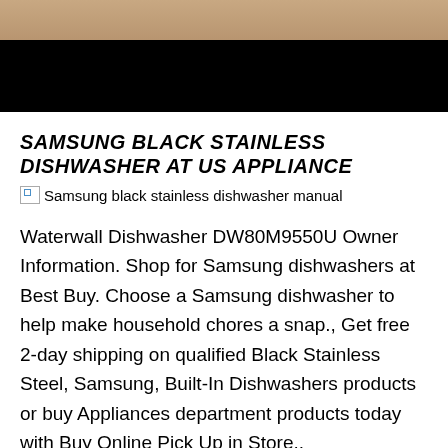[Figure (photo): Top portion of a photo showing a wooden surface and dark/black area below, cropped at top of page]
SAMSUNG BLACK STAINLESS DISHWASHER AT US APPLIANCE
[Figure (photo): Broken image placeholder with alt text: Samsung black stainless dishwasher manual]
Waterwall Dishwasher DW80M9550U Owner Information. Shop for Samsung dishwashers at Best Buy. Choose a Samsung dishwasher to help make household chores a snap., Get free 2-day shipping on qualified Black Stainless Steel, Samsung, Built-In Dishwashers products or buy Appliances department products today with Buy Online Pick Up in Store..
SAMSUNG DISHWASHER YOUTUBE